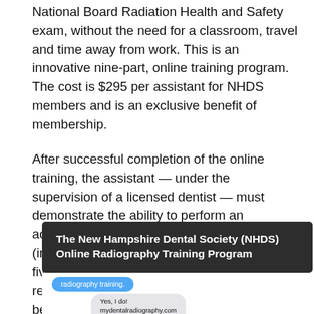National Board Radiation Health and Safety exam, without the need for a classroom, travel and time away from work. This is an innovative nine-part, online training program. The cost is $295 per assistant for NHDS members and is an exclusive benefit of membership.
After successful completion of the online training, the assistant — under the supervision of a licensed dentist — must demonstrate the ability to perform an acceptable full-mouth series of images (including four bitewings) with a maximum of five retakes. After meeting all course requirements, a certificate of completion will be issued that will be signed by the supervising dentist. This course is an excellent preparation for the DANB exam.
[Figure (other): Dark banner with white bold text reading 'The New Hampshire Dental Society (NHDS) Online Radiography Training Program', followed by partial screenshot of a text message conversation showing a blue chat bubble with 'radiography training.' and a white/gray bubble with 'Yes, I do! mydentalradiography.com from the New Hampshire...']